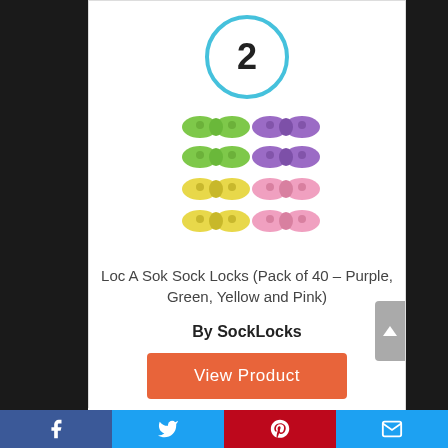[Figure (illustration): Number 2 inside a light blue circle outline]
[Figure (photo): Colorful sock locks in green, purple, yellow, and pink arranged in a 2x4 grid]
Loc A Sok Sock Locks (Pack of 40 – Purple, Green, Yellow and Pink)
By SockLocks
View Product
Facebook | Twitter | Pinterest | Email